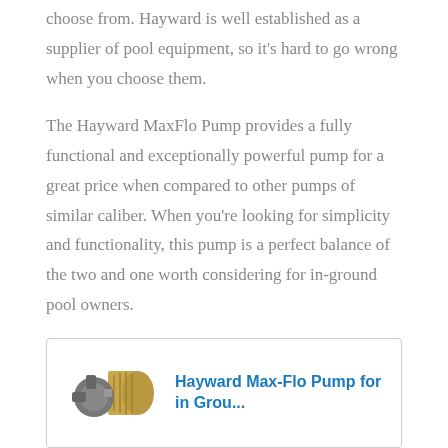choose from. Hayward is well established as a supplier of pool equipment, so it's hard to go wrong when you choose them.
The Hayward MaxFlo Pump provides a fully functional and exceptionally powerful pump for a great price when compared to other pumps of similar caliber. When you're looking for simplicity and functionality, this pump is a perfect balance of the two and one worth considering for in-ground pool owners.
[Figure (photo): Product listing box with a photo of a Hayward pool pump on the left and a blue hyperlink title 'Hayward Max-Flo Pump for in Grou...' on the right, inside a light gray bordered rectangle.]